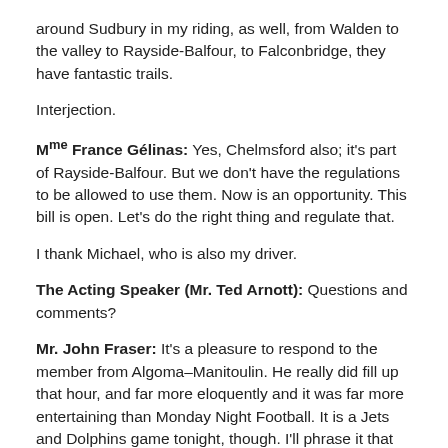around Sudbury in my riding, as well, from Walden to the valley to Rayside-Balfour, to Falconbridge, they have fantastic trails.
Interjection.
Mme France Gélinas: Yes, Chelmsford also; it's part of Rayside-Balfour. But we don't have the regulations to be allowed to use them. Now is an opportunity. This bill is open. Let's do the right thing and regulate that.
I thank Michael, who is also my driver.
The Acting Speaker (Mr. Ted Arnott): Questions and comments?
Mr. John Fraser: It's a pleasure to respond to the member from Algoma–Manitoulin. He really did fill up that hour, and far more eloquently and it was far more entertaining than Monday Night Football. It is a Jets and Dolphins game tonight, though. I'll phrase it that way.